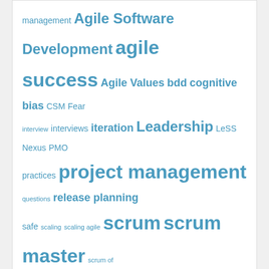management Agile Software Development agile success Agile Values bdd cognitive bias CSM Fear interview interviews iteration Leadership LeSS Nexus PMO practices project management questions release planning safe scaling scaling agile scrum scrum master scrum of scrums scrum teams software developers software development software methodology sprint stories tdd teams technical debt total cost of ownership tranformation transformation waterfall
View Full Site
Proudly powered by WordPress